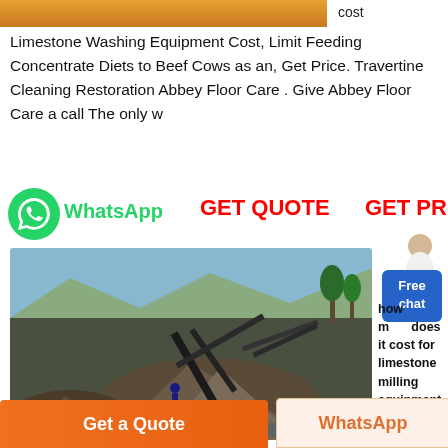[Figure (photo): Partial top image strip showing orange/yellow content, cropped at top]
cost
Limestone Washing Equipment Cost, Limit Feeding Concentrate Diets to Beef Cows as an, Get Price. Travertine Cleaning Restoration Abbey Floor Care . Give Abbey Floor Care a call The only w
[Figure (logo): WhatsApp green circle icon with phone handset]
WhatsApp
GET QUOTE
GET PRICE
[Figure (illustration): Person icon with Free chat blue box overlay]
[Figure (photo): Outdoor limestone crushing/milling equipment site with gravel piles, machinery, trees and mountains in background]
how much does it cost for limestone milling equipment Calculate Costs Of Crushing Limestone.
Get a Quote
WhatsApp